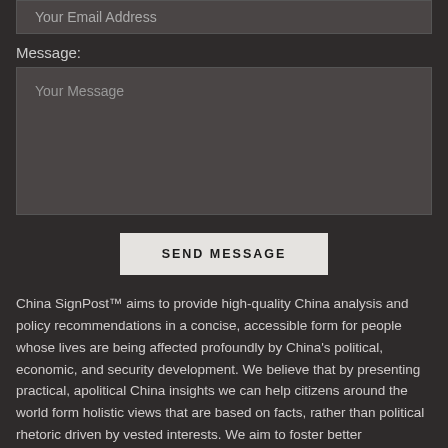Your Email Address
Message:
Your Message
SEND MESSAGE
China SignPost™ aims to provide high-quality China analysis and policy recommendations in a concise, accessible form for people whose lives are being affected profoundly by China's political, economic, and security development. We believe that by presenting practical, apolitical China insights we can help citizens around the world form holistic views that are based on facts, rather than political rhetoric driven by vested interests. We aim to foster better understanding of key Chinese developments, with particular